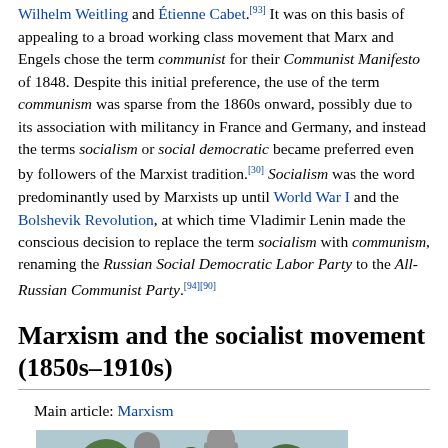Wilhelm Weitling and Étienne Cabet.[93] It was on this basis of appealing to a broad working class movement that Marx and Engels chose the term communist for their Communist Manifesto of 1848. Despite this initial preference, the use of the term communism was sparse from the 1860s onward, possibly due to its association with militancy in France and Germany, and instead the terms socialism or social democratic became preferred even by followers of the Marxist tradition.[30] Socialism was the word predominantly used by Marxists up until World War I and the Bolshevik Revolution, at which time Vladimir Lenin made the conscious decision to replace the term socialism with communism, renaming the Russian Social Democratic Labor Party to the All-Russian Communist Party.[94][90]
Marxism and the socialist movement (1850s–1910s)
Main article: Marxism
[Figure (photo): Photograph of two statues (likely Marx and Engels) standing outdoors with trees in the background]